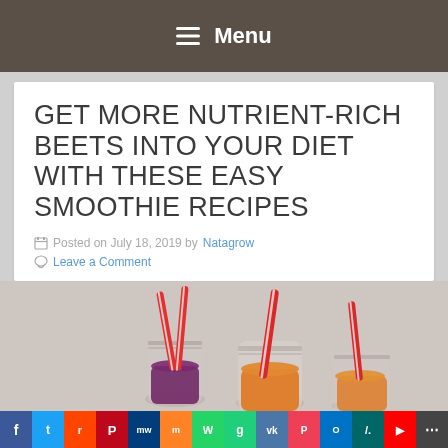☰ Menu
GET MORE NUTRIENT-RICH BEETS INTO YOUR DIET WITH THESE EASY SMOOTHIE RECIPES
Posted on July 18, 2019 by Natagrow
Leave a Comment
[Figure (photo): Three mason jars with colorful smoothies and red and white striped straws on a light gray background]
[Figure (infographic): Social sharing buttons bar: Facebook, Twitter, Reddit, Pinterest, MeWe, Mix, WhatsApp, Gab, VK, Pocket, Outlook, Slashdot, YouTube, More]